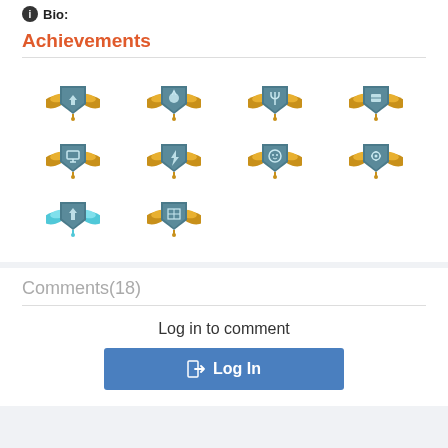Bio:
Achievements
[Figure (illustration): Grid of 10 achievement badges. Top two rows show 4 gold-winged shield badges each. Bottom row shows 1 cyan/blue-winged shield badge on left and 1 gold-winged shield badge next to it.]
Comments(18)
Log in to comment
Log In